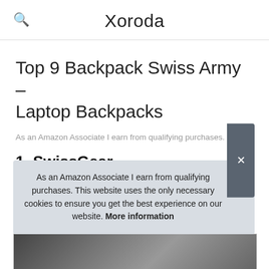Xoroda
Top 9 Backpack Swiss Army – Laptop Backpacks
As an Amazon Associate I earn from qualifying purchases.
1. SwissGear
#ad
As an Amazon Associate I earn from qualifying purchases. This website uses the only necessary cookies to ensure you get the best experience on our website. More information
[Figure (photo): Product image strip showing backpacks at bottom of page]